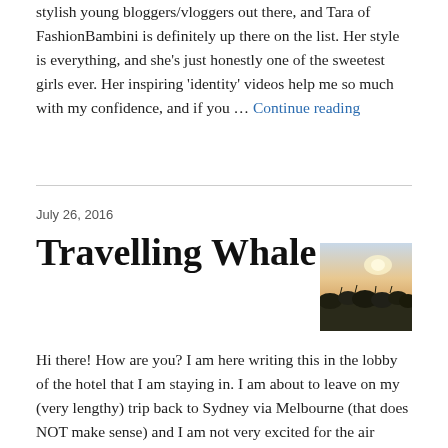stylish young bloggers/vloggers out there, and Tara of FashionBambini is definitely up there on the list. Her style is everything, and she's just honestly one of the sweetest girls ever. Her inspiring 'identity' videos help me so much with my confidence, and if you … Continue reading
July 26, 2016
Travelling Whale
[Figure (photo): Outdoor landscape photo showing a sunset or sunrise over a field with low shrubs and a pale sky gradient.]
Hi there! How are you? I am here writing this in the lobby of the hotel that I am staying in. I am about to leave on my (very lengthy) trip back to Sydney via Melbourne (that does NOT make sense) and I am not very excited for the air sickness to come…